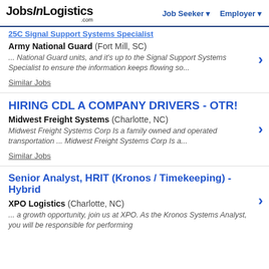JobsInLogistics.com | Job Seeker | Employer
25C Signal Support Systems Specialist
Army National Guard (Fort Mill, SC)
... National Guard units, and it's up to the Signal Support Systems Specialist to ensure the information keeps flowing so...
Similar Jobs
HIRING CDL A COMPANY DRIVERS - OTR!
Midwest Freight Systems (Charlotte, NC)
Midwest Freight Systems Corp Is a family owned and operated transportation ... Midwest Freight Systems Corp Is a...
Similar Jobs
Senior Analyst, HRIT (Kronos / Timekeeping) - Hybrid
XPO Logistics (Charlotte, NC)
... a growth opportunity, join us at XPO. As the Kronos Systems Analyst, you will be responsible for performing